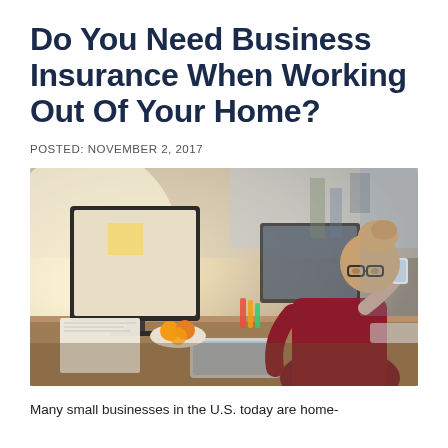Do You Need Business Insurance When Working Out Of Your Home?
POSTED: NOVEMBER 2, 2017
[Figure (photo): A woman with glasses and her hair up in a bun, wearing a dark red lace top, sitting at a wooden desk in a home office. She is talking on a smartphone while working at a computer monitor. On the desk are papers, a red coffee mug, a tablet, and a plate with oranges. The background shows a bright, blurred home office setting.]
Many small businesses in the U.S. today are home-